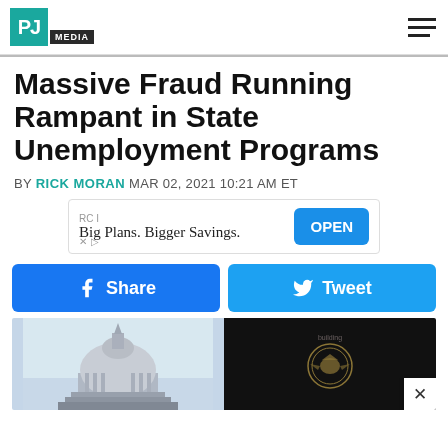PJ MEDIA
Massive Fraud Running Rampant in State Unemployment Programs
BY RICK MORAN MAR 02, 2021 10:21 AM ET
[Figure (other): Advertisement banner: RCI Big Plans. Bigger Savings. with OPEN button]
[Figure (other): Facebook Share and Twitter Tweet social sharing buttons]
[Figure (photo): Photo of US Capitol dome on left and a black passport/book with gold seal on right]